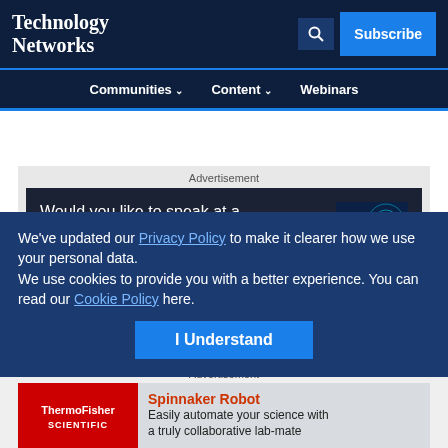Technology Networks
Communities ∨  Content ∨  Webinars
[Figure (screenshot): Advertisement banner: Would you like to speak at a Technology Networks online event?]
We've updated our Privacy Policy to make it clearer how we use your personal data.
We use cookies to provide you with a better experience. You can read our Cookie Policy here.
Chosen for You
[Figure (screenshot): Advertisement: ThermoFisher Scientific - Spinnaker Robot. Easily automate your science with a truly collaborative lab-mate]